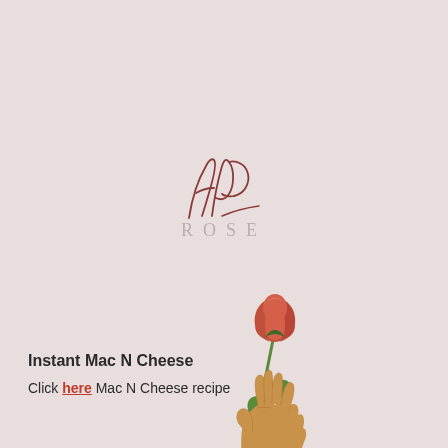[Figure (logo): AP Rose brand logo — cursive 'AP' monogram in dark rose/burgundy script above the word 'ROSE' in light gray spaced serif capitals]
[Figure (illustration): Illustrated hand holding a single red/pink rose with green stem and leaves — stylized flat art style on a pinkish-beige background]
Instant Mac N Cheese
Click here Mac N Cheese recipe